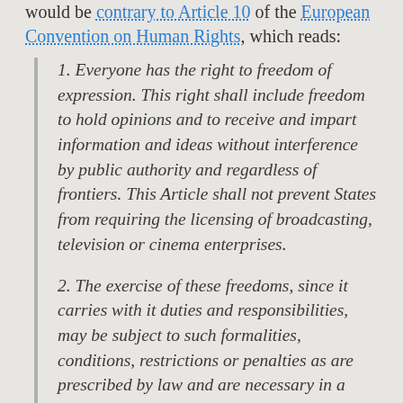would be contrary to Article 10 of the European Convention on Human Rights, which reads:
1. Everyone has the right to freedom of expression. This right shall include freedom to hold opinions and to receive and impart information and ideas without interference by public authority and regardless of frontiers. This Article shall not prevent States from requiring the licensing of broadcasting, television or cinema enterprises.
2. The exercise of these freedoms, since it carries with it duties and responsibilities, may be subject to such formalities, conditions, restrictions or penalties as are prescribed by law and are necessary in a democratic society, in the interests of national security, territorial